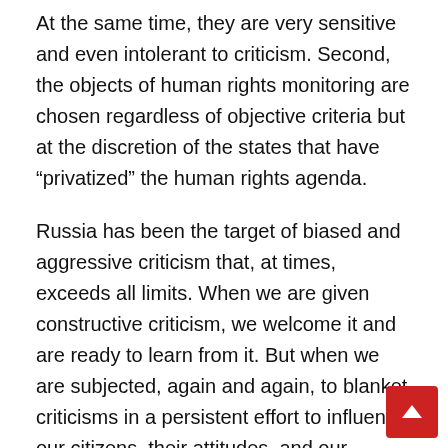At the same time, they are very sensitive and even intolerant to criticism. Second, the objects of human rights monitoring are chosen regardless of objective criteria but at the discretion of the states that have “privatized” the human rights agenda.
Russia has been the target of biased and aggressive criticism that, at times, exceeds all limits. When we are given constructive criticism, we welcome it and are ready to learn from it. But when we are subjected, again and again, to blanket criticisms in a persistent effort to influence our citizens, their attitudes, and our domestic affairs, it becomes clear that these attacks are not rooted in moral and democratic values.